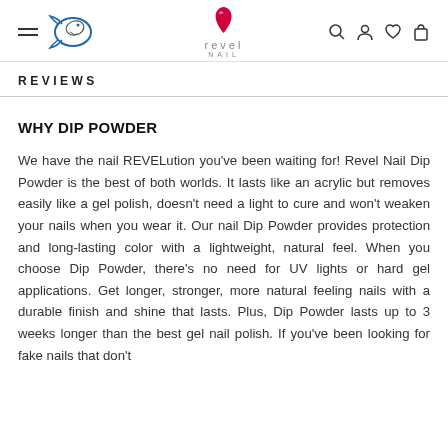Revel Nail - navigation header with logo, fish logo, search, account, wishlist, cart icons
REVIEWS
WHY DIP POWDER
We have the nail REVELution you've been waiting for! Revel Nail Dip Powder is the best of both worlds. It lasts like an acrylic but removes easily like a gel polish, doesn't need a light to cure and won't weaken your nails when you wear it. Our nail Dip Powder provides protection and long-lasting color with a lightweight, natural feel. When you choose Dip Powder, there's no need for UV lights or hard gel applications. Get longer, stronger, more natural feeling nails with a durable finish and shine that lasts. Plus, Dip Powder lasts up to 3 weeks longer than the best gel nail polish. If you've been looking for fake nails that don't